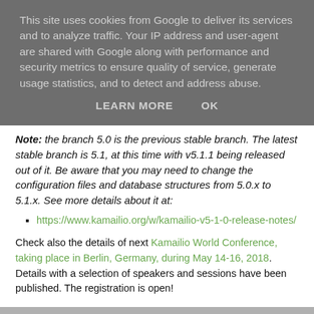This site uses cookies from Google to deliver its services and to analyze traffic. Your IP address and user-agent are shared with Google along with performance and security metrics to ensure quality of service, generate usage statistics, and to detect and address abuse.
LEARN MORE   OK
Note: the branch 5.0 is the previous stable branch. The latest stable branch is 5.1, at this time with v5.1.1 being released out of it. Be aware that you may need to change the configuration files and database structures from 5.0.x to 5.1.x. See more details about it at:
https://www.kamailio.org/w/kamailio-v5-1-0-release-notes/
Check also the details of next Kamailio World Conference, taking place in Berlin, Germany, during May 14-16, 2018. Details with a selection of speakers and sessions have been published. The registration is open!
Thanks for flying Kamailio!